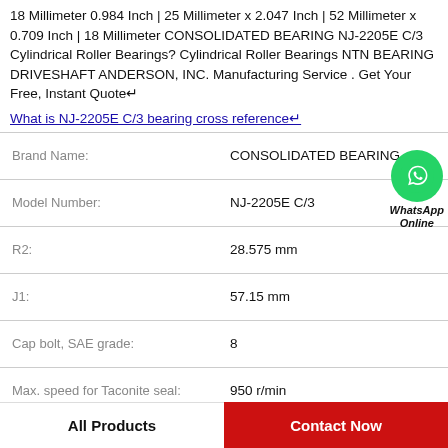18 Millimeter 0.984 Inch | 25 Millimeter x 2.047 Inch | 52 Millimeter x 0.709 Inch | 18 Millimeter CONSOLIDATED BEARING NJ-2205E C/3 Cylindrical Roller Bearings? Cylindrical Roller Bearings NTN BEARING DRIVESHAFT ANDERSON, INC. Manufacturing Service . Get Your Free, Instant Quote↵
What is NJ-2205E C/3 bearing cross reference↵
| Field | Value |
| --- | --- |
| Brand Name: | CONSOLIDATED BEARING |
| Model Number: | NJ-2205E C/3 |
| R2: | 28.575 mm |
| J1: | 57.15 mm |
| Cap bolt, SAE grade: | 8 |
| Max. speed for Taconite seal: | 950 r/min |
All Products | Contact Now